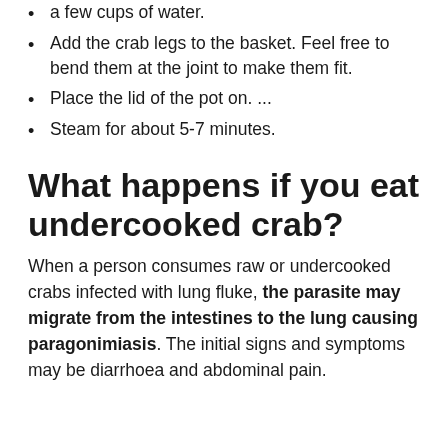a few cups of water.
Add the crab legs to the basket. Feel free to bend them at the joint to make them fit.
Place the lid of the pot on. ...
Steam for about 5-7 minutes.
What happens if you eat undercooked crab?
When a person consumes raw or undercooked crabs infected with lung fluke, the parasite may migrate from the intestines to the lung causing paragonimiasis. The initial signs and symptoms may be diarrhoea and abdominal pain.